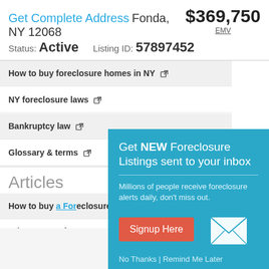Get Complete Address Fonda, NY 12068  $369,750  EMV
Status: Active    Listing ID: 57897452
How to buy foreclosure homes in NY
NY foreclosure laws
Bankruptcy law
Glossary & terms
Articles
How to buy a Foreclosure
Advantages of a ...
What is a HUD ho...
[Figure (infographic): Modal popup: Get NEW Foreclosure Listings sent to your inbox. Millions of people receive foreclosure alerts daily, don't miss out. Signup Here button. No Thanks | Remind Me Later. With envelope icon.]
Home icon navigation bar